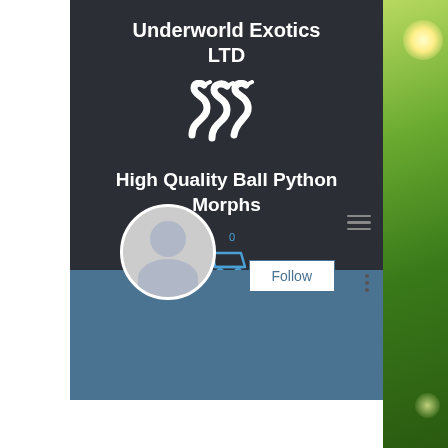Underworld Exotics LTD
[Figure (logo): White snake logo/icon on dark background]
High Quality Ball Python Morphs
[Figure (illustration): Shopping cart icon with 0 badge]
[Figure (photo): Profile page screenshot with blue-gray banner and profile avatar, Follow button, and three-dot menu]